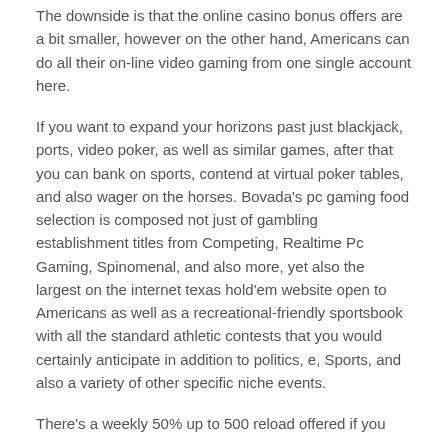The downside is that the online casino bonus offers are a bit smaller, however on the other hand, Americans can do all their on-line video gaming from one single account here.
If you want to expand your horizons past just blackjack, ports, video poker, as well as similar games, after that you can bank on sports, contend at virtual poker tables, and also wager on the horses. Bovada's pc gaming food selection is composed not just of gambling establishment titles from Competing, Realtime Pc Gaming, Spinomenal, and also more, yet also the largest on the internet texas hold'em website open to Americans as well as a recreational-friendly sportsbook with all the standard athletic contests that you would certainly anticipate in addition to politics, e, Sports, and also a variety of other specific niche events.
There's a weekly 50% up to 500 reload offered if you